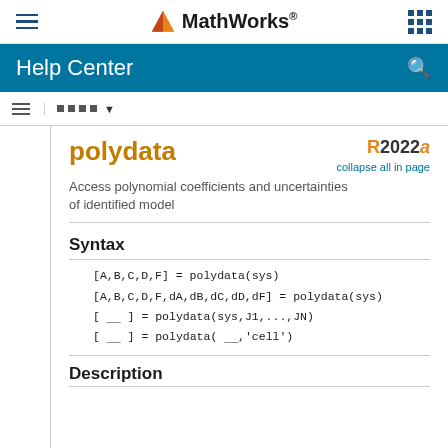MathWorks Help Center
polydata
Access polynomial coefficients and uncertainties of identified model
R2022a
collapse all in page
Syntax
[A,B,C,D,F] = polydata(sys)
[A,B,C,D,F,dA,dB,dC,dD,dF] = polydata(sys)
[ __ ] = polydata(sys,J1,...,JN)
[ __ ] = polydata( __,'cell')
Description